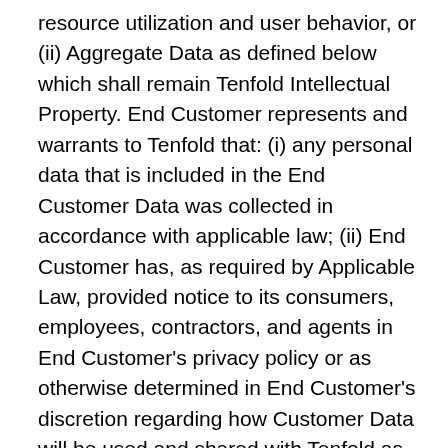resource utilization and user behavior, or (ii) Aggregate Data as defined below which shall remain Tenfold Intellectual Property. End Customer represents and warrants to Tenfold that: (i) any personal data that is included in the End Customer Data was collected in accordance with applicable law; (ii) End Customer has, as required by Applicable Law, provided notice to its consumers, employees, contractors, and agents in End Customer's privacy policy or as otherwise determined in End Customer's discretion regarding how Customer Data will be used and shared with Tenfold as a downstream processor and any Supported Third Party Services; (ii) End Customer has obtained all necessary rights, consents, and authority for Tenfold to use and process the personal data as contemplated by the EULA, (ii) the End Customer Data does not include any data that is covered by special regulatory protections such as data regarding an individual's race, religious